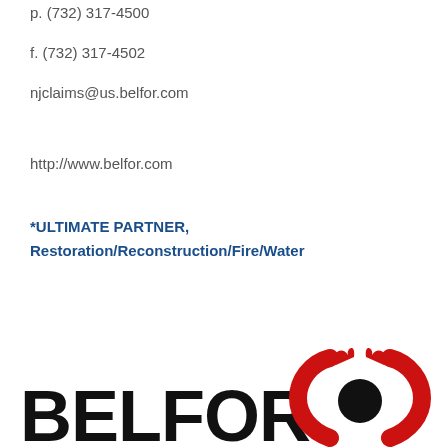p. (732) 317-4500
f. (732) 317-4502
njclaims@us.belfor.com
http://www.belfor.com
*ULTIMATE PARTNER, Restoration/Reconstruction/Fire/Water
[Figure (logo): BELFOR company logo with red flame symbol in black and red colors]